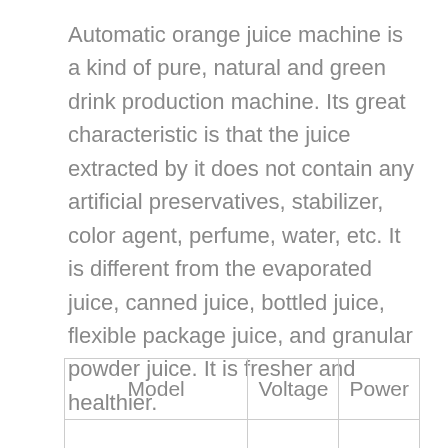Automatic orange juice machine is a kind of pure, natural and green drink production machine. Its great characteristic is that the juice extracted by it does not contain any artificial preservatives, stabilizer, color agent, perfume, water, etc. It is different from the evaporated juice, canned juice, bottled juice, flexible package juice, and granular powder juice. It is fresher and healthier.
| Model | Voltage | Power |
| --- | --- | --- |